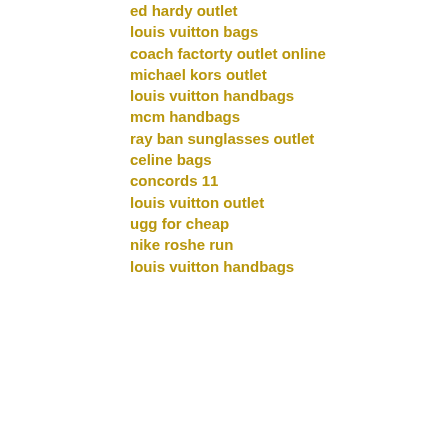ed hardy outlet
louis vuitton bags
coach factorty outlet online
michael kors outlet
louis vuitton handbags
mcm handbags
ray ban sunglasses outlet
celine bags
concords 11
louis vuitton outlet
ugg for cheap
nike roshe run
louis vuitton handbags
Reply
chenzhen  6/2/16, 12:00 AM
michael kors handbags
michael kors outlet canada
jimmy choo outlet store
michael kors canada
true religion jeans